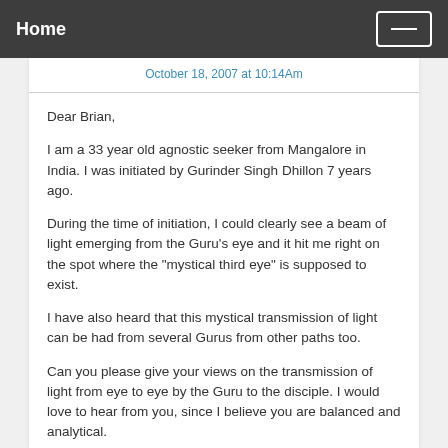Home
October 18, 2007 at 10:14Am
Dear Brian,

I am a 33 year old agnostic seeker from Mangalore in India. I was initiated by Gurinder Singh Dhillon 7 years ago.

During the time of initiation, I could clearly see a beam of light emerging from the Guru's eye and it hit me right on the spot where the "mystical third eye" is supposed to exist.

I have also heard that this mystical transmission of light can be had from several Gurus from other paths too.

Can you please give your views on the transmission of light from eye to eye by the Guru to the disciple. I would love to hear from you, since I believe you are balanced and analytical.

Thank You, Yours sincerely